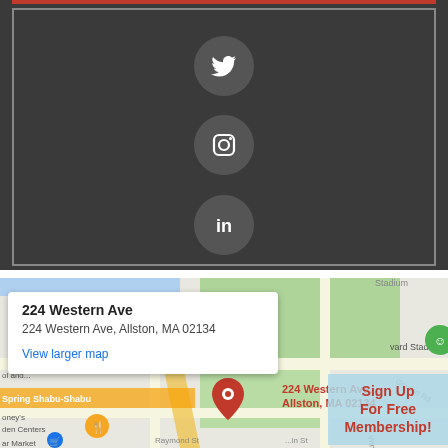[Figure (screenshot): Dark gray panel with a red top border and gray border box containing three social media icons vertically arranged: Twitter (bird), Instagram (camera), LinkedIn (in) — each in a dark circular button]
[Figure (map): Google Maps screenshot showing 224 Western Ave, Allston MA 02134 with a popup tooltip, a red map pin marker, nearby landmarks including Harvard Stadium, Spring Shabu-Shabu, and a 'Sign Up For Free Membership!' overlay in the bottom right corner]